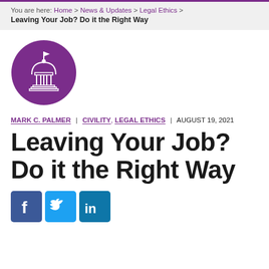You are here: Home > News & Updates > Legal Ethics > Leaving Your Job? Do it the Right Way
[Figure (illustration): Purple circle with white line-art icon of a government/courthouse building with dome and columns]
MARK C. PALMER | CIVILITY, LEGAL ETHICS | AUGUST 19, 2021
Leaving Your Job? Do it the Right Way
[Figure (other): Social sharing icons: Facebook (blue), Twitter (light blue), LinkedIn (dark blue)]